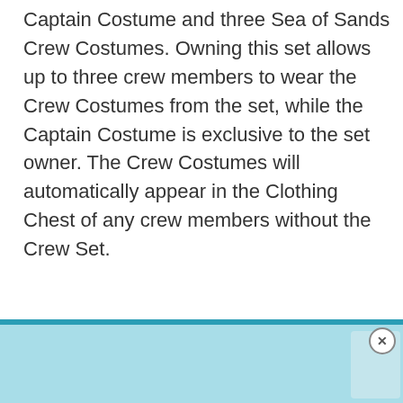Captain Costume and three Sea of Sands Crew Costumes. Owning this set allows up to three crew members to wear the Crew Costumes from the set, while the Captain Costume is exclusive to the set owner. The Crew Costumes will automatically appear in the Clothing Chest of any crew members without the Crew Set.
You can purchase the Sea of Sands Crew Set for 1,499 Ancient Coin. The costumes cannot be purchase separately.
[Figure (photo): Advertisement banner at the bottom of the page showing a light blue background with what appears to be a crab or sea creature image, with a close (X) button in the top right corner.]